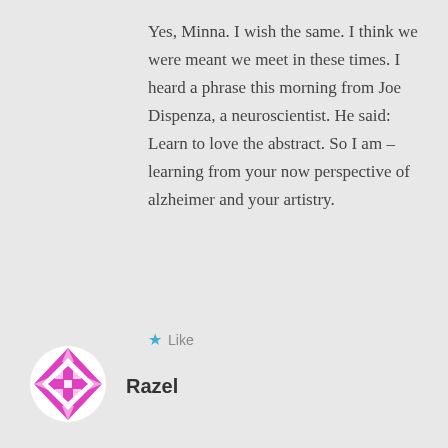Yes, Minna. I wish the same. I think we were meant we meet in these times. I heard a phrase this morning from Joe Dispenza, a neuroscientist. He said: Learn to love the abstract. So I am – learning from your now perspective of alzheimer and your artistry.
★ Like
Razel